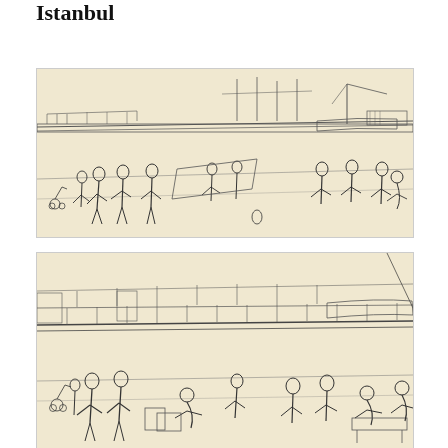Istanbul
[Figure (illustration): Pencil sketch drawing of a harbor or waterfront scene in Istanbul, showing crowds of people in the foreground and ships, cranes, and port infrastructure in the background. Figures are drawn in loose, gestural style.]
[Figure (illustration): Second pencil sketch drawing of a similar Istanbul waterfront/harbor scene, showing people seated and standing in the foreground with the Galata Bridge or similar structure and port facilities in the background.]